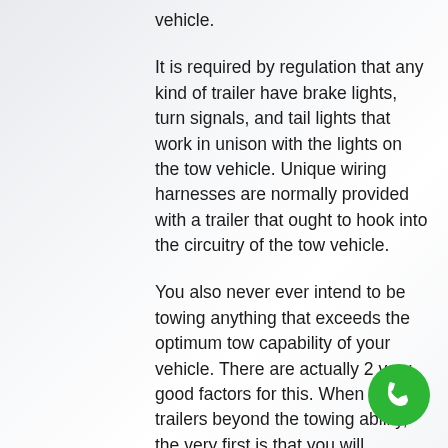vehicle.
It is required by regulation that any kind of trailer have brake lights, turn signals, and tail lights that work in unison with the lights on the tow vehicle. Unique wiring harnesses are normally provided with a trailer that ought to hook into the circuitry of the tow vehicle.
You also never ever intend to be towing anything that exceeds the optimum tow capability of your vehicle. There are actually 2 very good factors for this. When towing trailers beyond the towing ability, the very first is that you will damage your vehicle’s drive train. The 2nd factor is related to the first: ought to your drive train fail and you are towing something up
[Figure (other): Green circular phone/call button icon in the bottom right corner]